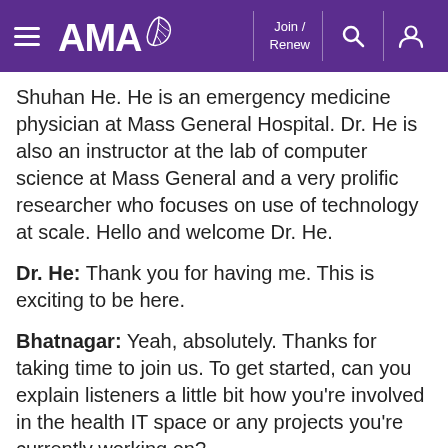AMA | Join / Renew
Shuhan He. He is an emergency medicine physician at Mass General Hospital. Dr. He is also an instructor at the lab of computer science at Mass General and a very prolific researcher who focuses on use of technology at scale. Hello and welcome Dr. He.
Dr. He: Thank you for having me. This is exciting to be here.
Bhatnagar: Yeah, absolutely. Thanks for taking time to join us. To get started, can you explain listeners a little bit how you're involved in the health IT space or any projects you're currently working on?